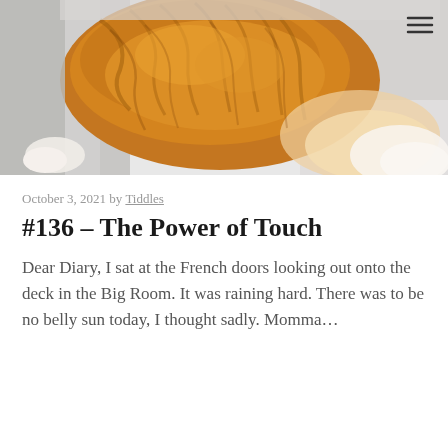[Figure (photo): Close-up photo of an orange tabby cat from above, showing its fluffy fur and curled body against a white background]
October 3, 2021 by Tiddles
#136 – The Power of Touch
Dear Diary, I sat at the French doors looking out onto the deck in the Big Room. It was raining hard. There was to be no belly sun today, I thought sadly. Momma…